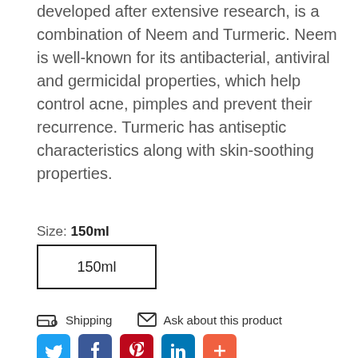developed after extensive research, is a combination of Neem and Turmeric. Neem is well-known for its antibacterial, antiviral and germicidal properties, which help control acne, pimples and prevent their recurrence. Turmeric has antiseptic characteristics along with skin-soothing properties.
Size: 150ml
150ml
Shipping
Ask about this product